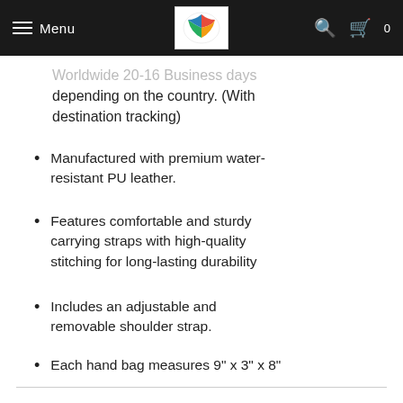Menu | Life is Better With Colors | [search] [cart 0]
Worldwide 20-16 Business days depending on the country. (With destination tracking)
Manufactured with premium water-resistant PU leather.
Features comfortable and sturdy carrying straps with high-quality stitching for long-lasting durability
Includes an adjustable and removable shoulder strap.
Each hand bag measures 9" x 3" x 8"
Type: Shoulder Handbags
[Figure (other): Social sharing buttons row: Twitter, Facebook, Pinterest, Google+, Email]